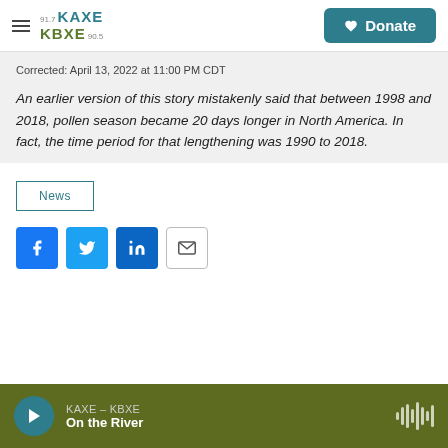KAXE KBXE 91.7 / 90.5 — Donate
Corrected: April 13, 2022 at 11:00 PM CDT
An earlier version of this story mistakenly said that between 1998 and 2018, pollen season became 20 days longer in North America. In fact, the time period for that lengthening was 1990 to 2018.
News
[Figure (other): Social sharing buttons: Facebook, Twitter, LinkedIn, Email]
KAXE – KBXE | On the River